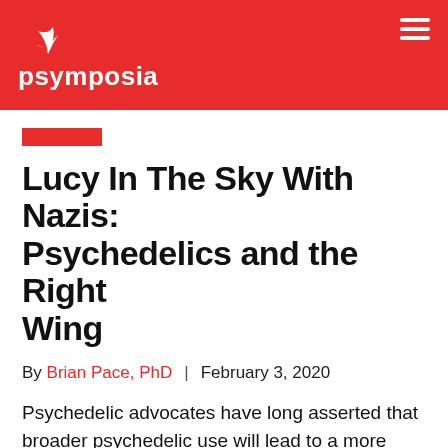psymposia
Lucy In The Sky With Nazis: Psychedelics and the Right Wing
By Brian Pace, PhD  |  February 3, 2020
Psychedelic advocates have long asserted that broader psychedelic use will lead to a more open, progressive society, but there are too many instances of right-wingers who have taken them for that to be true.